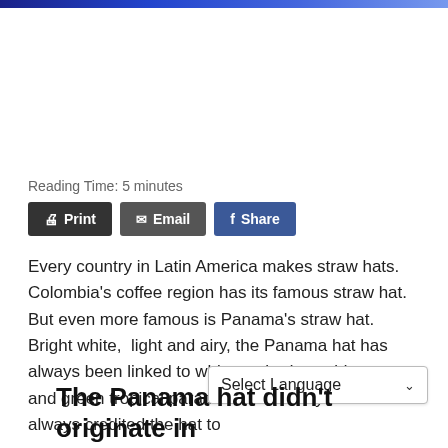Reading Time: 5 minutes
Print  Email  Share
Every country in Latin America makes straw hats. Colombia's coffee region has its famous straw hat. But even more famous is Panama's straw hat. Bright white,  light and airy, the Panama hat has always been linked to whitewashed seaside resorts and green tropical paradises. But everyone has always credited the hat to
The Panama hat didn't originate in